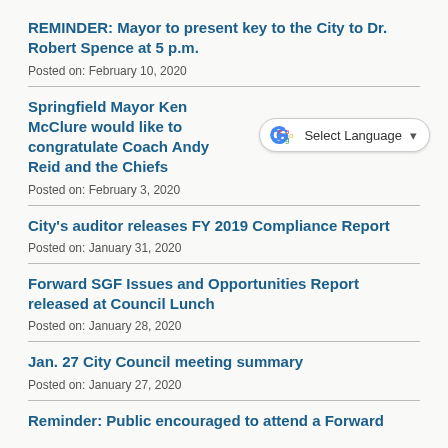REMINDER: Mayor to present key to the City to Dr. Robert Spence at 5 p.m.
Posted on: February 10, 2020
Springfield Mayor Ken McClure would like to congratulate Coach Andy Reid and the Chiefs
Posted on: February 3, 2020
City's auditor releases FY 2019 Compliance Report
Posted on: January 31, 2020
Forward SGF Issues and Opportunities Report released at Council Lunch
Posted on: January 28, 2020
Jan. 27 City Council meeting summary
Posted on: January 27, 2020
Reminder: Public encouraged to attend a Forward